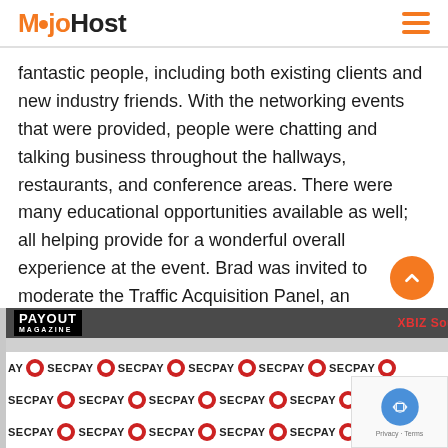MojoHost
fantastic people, including both existing clients and new industry friends. With the networking events that were provided, people were chatting and talking business throughout the hallways, restaurants, and conference areas. There were many educational opportunities available as well; all helping provide for a wonderful overall experience at the event. Brad was invited to moderate the Traffic Acquisition Panel, an educational session with seasoned veterans of this industry space.
[Figure (screenshot): Video thumbnail from XBIZ South Beach Day 3, 2019 featuring PAYOUT Magazine branding and SECPAY sponsor banner]